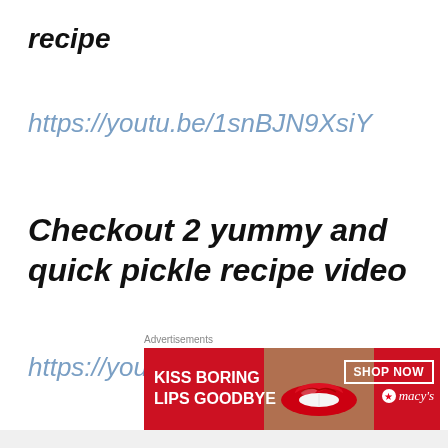recipe
https://youtu.be/1snBJN9XsiY
Checkout 2 yummy and quick pickle recipe video
https://youtu.be/HRbI__IFybM
[Figure (other): Advertisement banner for Macy's lipstick promotion reading 'KISS BORING LIPS GOODBYE' with a SHOP NOW button and Macy's star logo, featuring a woman's face with red lips]